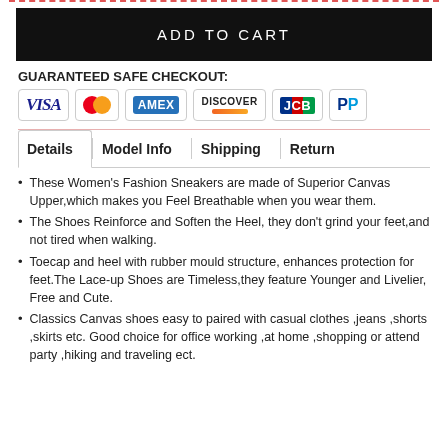[Figure (other): Add to Cart button - black rectangle with white uppercase text ADD TO CART]
GUARANTEED SAFE CHECKOUT:
[Figure (other): Payment icons: VISA, Mastercard, AMEX, DISCOVER, JCB, PayPal]
Details | Model Info | Shipping | Return (tabs)
These Women's Fashion Sneakers are made of Superior Canvas Upper,which makes you Feel Breathable when you wear them.
The Shoes Reinforce and Soften the Heel, they don't grind your feet,and not tired when walking.
Toecap and heel with rubber mould structure, enhances protection for feet.The Lace-up Shoes are Timeless,they feature Younger and Livelier, Free and Cute.
Classics Canvas shoes easy to paired with casual clothes ,jeans ,shorts ,skirts etc. Good choice for office working ,at home ,shopping or attend party ,hiking and traveling ect.